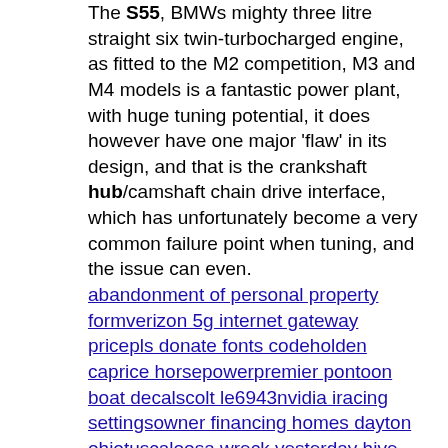The S55, BMWs mighty three litre straight six twin-turbocharged engine, as fitted to the M2 competition, M3 and M4 models is a fantastic power plant, with huge tuning potential, it does however have one major 'flaw' in its design, and that is the crankshaft hub/camshaft chain drive interface, which has unfortunately become a very common failure point when tuning, and the issue can even.
abandonment of personal property form
verizon 5g internet gateway price
pls donate fonts code
holden caprice horsepower
premier pontoon boat decals
colt le6943
nvidia iracing settings
owner financing homes dayton ohio
tuscaloosa wreck yesterday
hive query array of struct
pranayama breathwork
spacewar mod id
what is pangp virtual ethernet adapter
microsoft flight simulator 2020 approach plates
rancher homes in baltimore county
van buren ohio